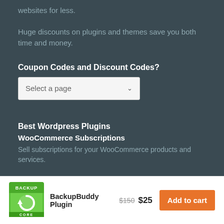websites for less.
Huge discounts on plugins and themes save you both time and money.
Coupon Codes and Discount Codes?
Select a page
Best Wordpress Plugins
WooCommerce Subscriptions
Sell subscriptions for your WooCommerce products and services.
[Figure (logo): BackupBuddy plugin logo — green and white badge with circular arrow icon and BACKUP CORE text]
BackupBuddy Plugin
$150 $25
Add to cart